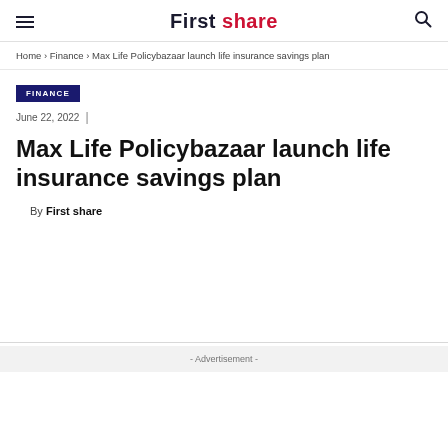First share
Home › Finance › Max Life Policybazaar launch life insurance savings plan
FINANCE
June 22, 2022 |
Max Life Policybazaar launch life insurance savings plan
By First share
- Advertisement -